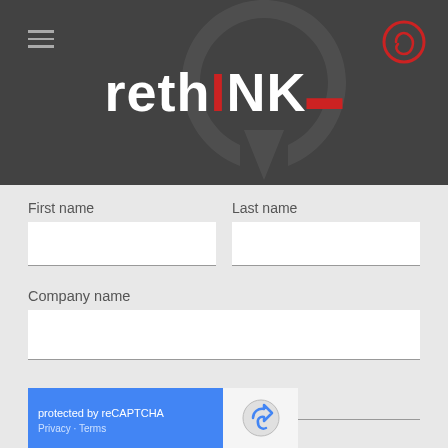[Figure (logo): rethINK brand banner with dark background, watermark arrow/circle shape, hamburger menu icon top-left, red circular logo icon top-right, and large white bold 'rethINK' text with red accent dash through the I]
First name
Last name
Company name
Email**
[Figure (screenshot): reCAPTCHA widget: blue left panel with 'protected by reCAPTCHA' and 'Privacy - Terms' text, right panel with reCAPTCHA robot/checkmark icon]